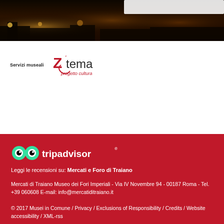[Figure (photo): Dark nighttime cityscape banner photo showing illuminated ancient Roman ruins with warm amber/orange lighting against a dark sky. A white search bar or header element is partially visible in the upper right.]
[Figure (logo): Zetema Progetto Cultura logo in red with stylized Z and e letters, accompanied by 'Servizi museali' label text to the left]
[Figure (logo): TripAdvisor owl logo with two circular eye icons in green and black, followed by tripadvisor text in white]
Leggi le recensioni su: Mercati e Foro di Traiano
Mercati di Traiano Museo dei Fori Imperiali - Via IV Novembre 94 - 00187 Roma - Tel. +39 060608 E-mail: info@mercatiditraiano.it
© 2017 Musei in Comune / Privacy / Exclusions of Responsibility / Credits / Website accessibility / XML-rss